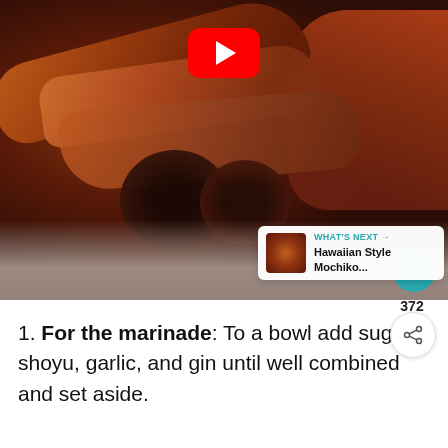[Figure (photo): Close-up photo of glazed braised pork belly slices and dark braised mushrooms on a white plate, with a YouTube play button overlay in the upper center, a teal heart/like button showing 372 likes, a share button, and a 'What's Next' thumbnail overlay in the lower right showing Hawaiian Style Mochiko...]
1. For the marinade: To a bowl add sugar, shoyu, garlic, and gin... until well combined and set aside.